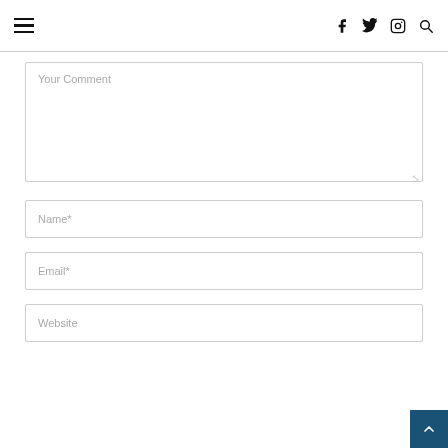Navigation header with hamburger menu and social icons (Facebook, Twitter, Instagram, Search)
Your Comment
Name*
Email*
Website